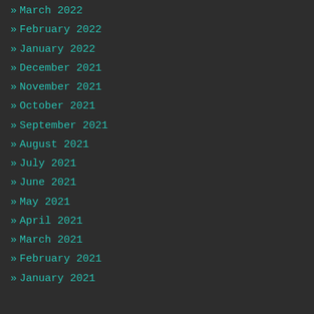» March 2022
» February 2022
» January 2022
» December 2021
» November 2021
» October 2021
» September 2021
» August 2021
» July 2021
» June 2021
» May 2021
» April 2021
» March 2021
» February 2021
» January 2021